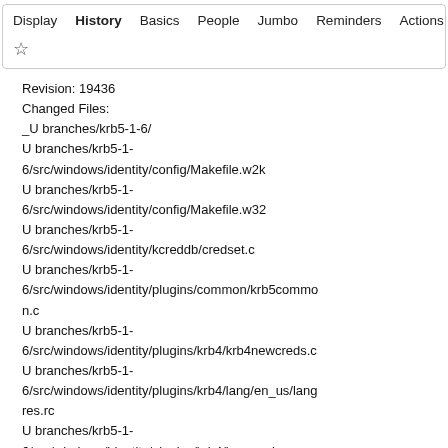Display  History  Basics  People  Jumbo  Reminders  Actions
Revision: 19436
Changed Files:
_U branches/krb5-1-6/
U branches/krb5-1-6/src/windows/identity/config/Makefile.w2k
U branches/krb5-1-6/src/windows/identity/config/Makefile.w32
U branches/krb5-1-6/src/windows/identity/kcreddb/credset.c
U branches/krb5-1-6/src/windows/identity/plugins/common/krb5common.c
U branches/krb5-1-6/src/windows/identity/plugins/krb4/krb4newcreds.c
U branches/krb5-1-6/src/windows/identity/plugins/krb4/lang/en_us/langres.rc
U branches/krb5-1-6/src/windows/identity/plugins/krb4/langres.h
U branches/krb5-1-6/src/windows/identity/plugins/krb5/krb5funcs.c
U branches/krb5-1-6/src/windows/identity/plugins/krb5/krb5identpro.c
U branches/krb5-1-